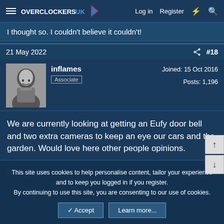Overclockers UK — Log in | Register
I thought so. I couldn't believe it couldn't!
21 May 2022  #18
inflames
Associate
Joined: 15 Oct 2016
Posts: 1,196
We are currently looking at getting an Eufy door bell and two extra cameras to keep an eye our cars and the garden. Would love here other people opinions.
21 May 2022  #19
This site uses cookies to help personalise content, tailor your experience and to keep you logged in if you register.
By continuing to use this site, you are consenting to our use of cookies.